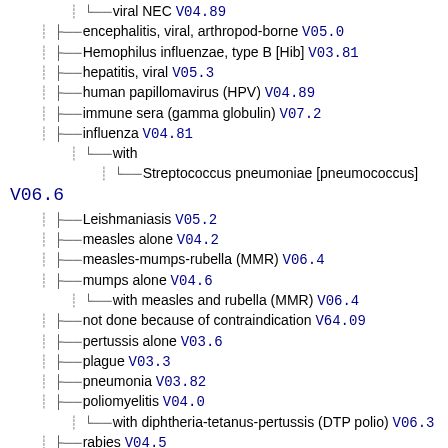viral NEC V04.89
encephalitis, viral, arthropod-borne V05.0
Hemophilus influenzae, type B [Hib] V03.81
hepatitis, viral V05.3
human papillomavirus (HPV) V04.89
immune sera (gamma globulin) V07.2
influenza V04.81
with
Streptococcus pneumoniae [pneumococcus] V06.6
Leishmaniasis V05.2
measles alone V04.2
measles-mumps-rubella (MMR) V06.4
mumps alone V04.6
with measles and rubella (MMR) V06.4
not done because of contraindication V64.09
pertussis alone V03.6
plague V03.3
pneumonia V03.82
poliomyelitis V04.0
with diphtheria-tetanus-pertussis (DTP polio) V06.3
rabies V04.5